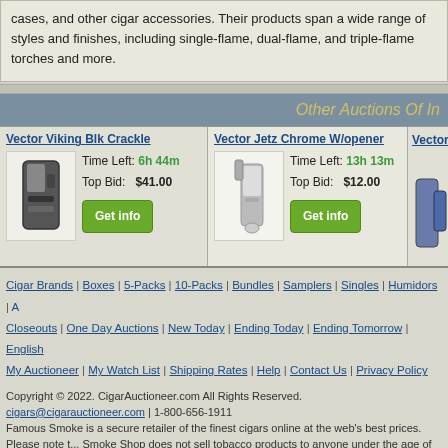cases, and other cigar accessories. Their products span a wide range of styles and finishes, including single-flame, dual-flame, and triple-flame torches and more.
Other Auctions Of I...
Vector Viking Blk Crackle | Time Left: 6h 44m | Top Bid: $41.00 | Get info
Vector Jetz Chrome W/opener | Time Left: 13h 13m | Top Bid: $12.00 | Get info
Vector M... (partially visible)
Cigar Brands | Boxes | 5-Packs | 10-Packs | Bundles | Samplers | Singles | Humidors | A... | Closeouts | One Day Auctions | New Today | Ending Today | Ending Tomorrow | English... | My Auctioneer | My Watch List | Shipping Rates | Help | Contact Us | Privacy Policy
Copyright © 2022. CigarAuctioneer.com All Rights Reserved.
cigars@cigarauctioneer.com | 1-800-656-1911
Famous Smoke is a secure retailer of the finest cigars online at the web's best prices. Please note that Famous Smoke Shop does not sell tobacco products to anyone under the age of 21 (or the minimum age in your jurisdiction, whichever is higher). Note also that it is unlawful to even attempt to purchase cigars below the minimum age. If you are not of legal age, please do not enter our site. For more information on how to verify your age click here.